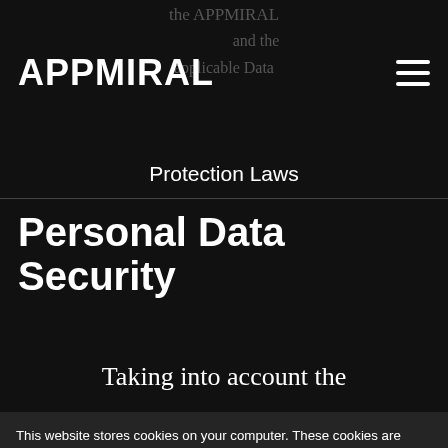APPMIRAL
the APPMIRAL and the applicable Data Protection Laws
Personal Data Security
Taking into account the
This website stores cookies on your computer. These cookies are used to collect information about how you interact with our website and allow us to remember you. We use this information in order to improve and customize your browsing experience and for analytics and metrics about our visitors both on this website and other media. To find out more about the cookies we use, see our Privacy Policy.